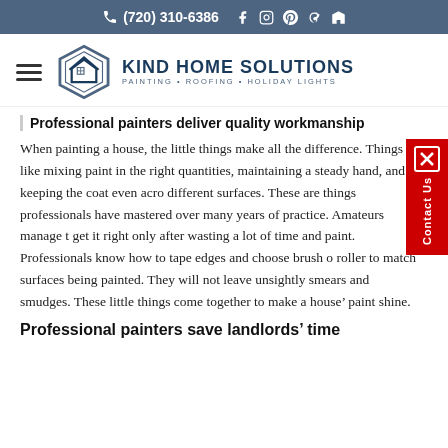(720) 310-6386
[Figure (logo): Kind Home Solutions logo with hexagon house icon. Text: KIND HOME SOLUTIONS. Subtitle: PAINTING • ROOFING • HOLIDAY LIGHTS]
Professional painters deliver quality workmanship
When painting a house, the little things make all the difference. Things like mixing paint in the right quantities, maintaining a steady hand, and keeping the coat even across different surfaces. These are things professionals have mastered over many years of practice. Amateurs manage to get it right only after wasting a lot of time and paint. Professionals know how to tape edges and choose brush or roller to match surfaces being painted. They will not leave unsightly smears and smudges. These little things come together to make a house' paint shine.
Professional painters save landlords' time